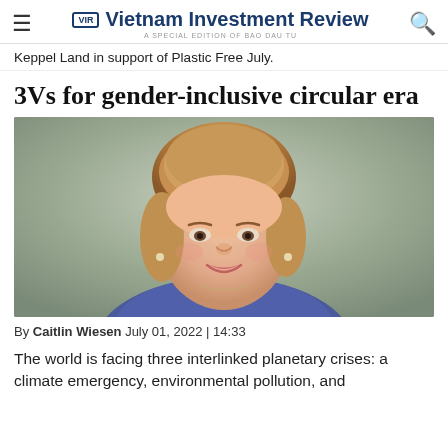Vietnam Investment Review — A SPECIAL EDITION OF BAO DAU TU
Keppel Land in support of Plastic Free July.
3Vs for gender-inclusive circular era
[Figure (photo): Portrait photo of Caitlin Wiesen, a woman with auburn/blonde hair wearing a blue top, smiling.]
By Caitlin Wiesen July 01, 2022 | 14:33
The world is facing three interlinked planetary crises: a climate emergency, environmental pollution, and